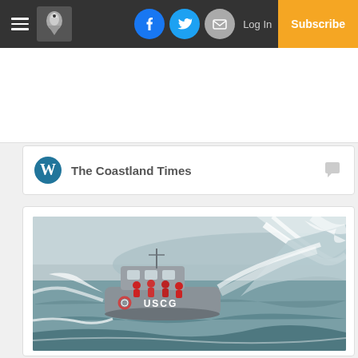The Coastland Times — Navigation bar with hamburger menu, logo, Facebook, Twitter, Email icons, Log In, Subscribe
[Figure (screenshot): WordPress comment card showing 'The Coastland Times' with WordPress logo and comment icon]
[Figure (photo): Coast Guard motor lifeboat navigating through large breaking ocean waves, crew in red survival suits visible on deck]